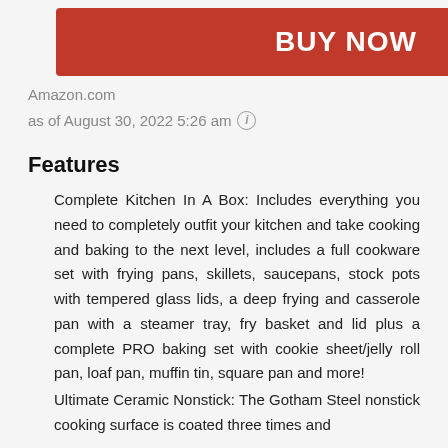[Figure (other): BUY NOW button in red/coral color]
Amazon.com
as of August 30, 2022 5:26 am ⓘ
Features
Complete Kitchen In A Box: Includes everything you need to completely outfit your kitchen and take cooking and baking to the next level, includes a full cookware set with frying pans, skillets, saucepans, stock pots with tempered glass lids, a deep frying and casserole pan with a steamer tray, fry basket and lid plus a complete PRO baking set with cookie sheet/jelly roll pan, loaf pan, muffin tin, square pan and more!
Ultimate Ceramic Nonstick: The Gotham Steel nonstick cooking surface is coated three times and